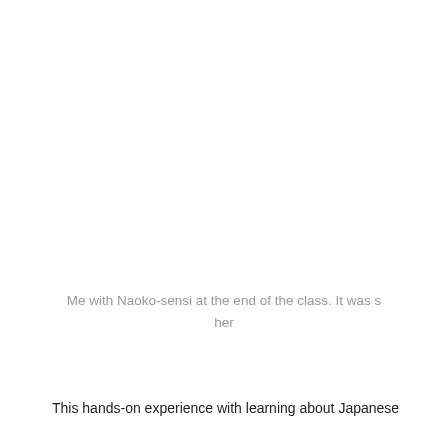Me with Naoko-sensi at the end of the class. It was s her
This hands-on experience with learning about Japanese